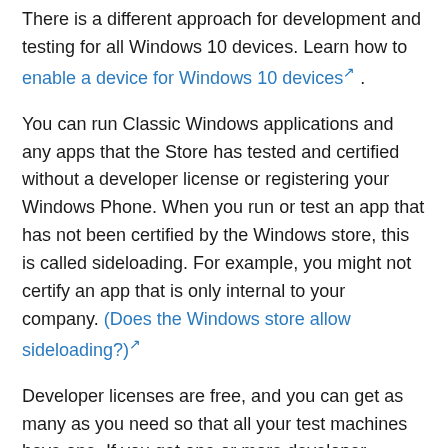There is a different approach for development and testing for all Windows 10 devices. Learn how to enable a device for Windows 10 devices.
You can run Classic Windows applications and any apps that the Store has tested and certified without a developer license or registering your Windows Phone. When you run or test an app that has not been certified by the Windows store, this is called sideloading. For example, you might not certify an app that is only internal to your company. (Does the Windows store allow sideloading?)
Developer licenses are free, and you can get as many as you need so that all your test machines have one. If you get one or more developer licenses by using a Microsoft account, you must renew them every 30 days. If you get one or more developer licenses by using a Store account, you must renew them every 90 days, and you might gain other advantages.